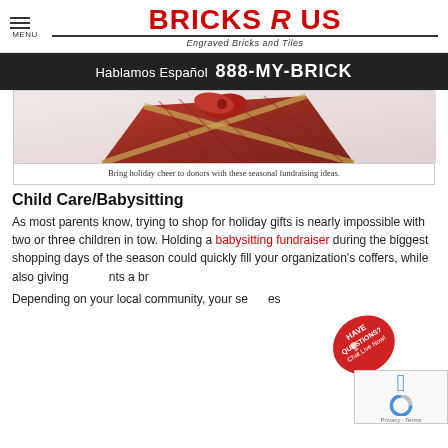MENU | BRICKS R US — Engraved Bricks and Tiles
Hablamos Español  888-MY-BRICK
[Figure (photo): A red decorative gift box with gold patterns, partially visible from above.]
Bring holiday cheer to donors with these seasonal fundraising ideas.
Child Care/Babysitting
As most parents know, trying to shop for holiday gifts is nearly impossible with two or three children in tow. Holding a babysitting fundraiser during the biggest shopping days of the season could quickly fill your organization's coffers, while also giving parents a br…
Depending on your local community, your se…es …during the holiday season of…